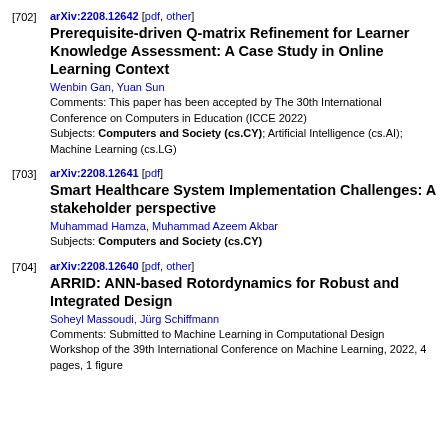[702] arXiv:2208.12642 [pdf, other]
Prerequisite-driven Q-matrix Refinement for Learner Knowledge Assessment: A Case Study in Online Learning Context
Wenbin Gan, Yuan Sun
Comments: This paper has been accepted by The 30th International Conference on Computers in Education (ICCE 2022)
Subjects: Computers and Society (cs.CY); Artificial Intelligence (cs.AI); Machine Learning (cs.LG)
[703] arXiv:2208.12641 [pdf]
Smart Healthcare System Implementation Challenges: A stakeholder perspective
Muhammad Hamza, Muhammad Azeem Akbar
Subjects: Computers and Society (cs.CY)
[704] arXiv:2208.12640 [pdf, other]
ARRID: ANN-based Rotordynamics for Robust and Integrated Design
Soheyl Massoudi, Jürg Schiffmann
Comments: Submitted to Machine Learning in Computational Design Workshop of the 39th International Conference on Machine Learning, 2022, 4 pages, 1 figure